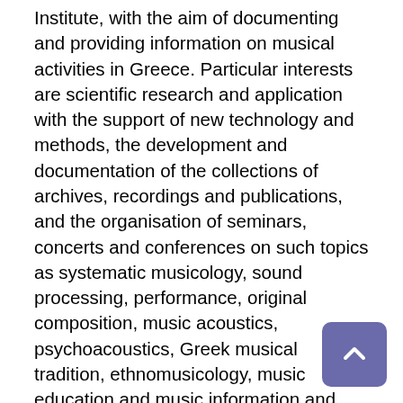Institute, with the aim of documenting and providing information on musical activities in Greece. Particular interests are scientific research and application with the support of new technology and methods, the development and documentation of the collections of archives, recordings and publications, and the organisation of seminars, concerts and conferences on such topics as systematic musicology, sound processing, performance, original composition, music acoustics, psychoacoustics, Greek musical tradition, ethnomusicology, music education and music information and documentation. It holds a sound archive as well as the Xenakis Archive. The library houses an archive of music magazines, periodicals, music literature, manuscripts, music scores, essays and music information databases. Facilities include an experimental laboratory of musical instruments (for construction and repair of traditional instruments as well as research on development and advancement of classical instruments and development of experimental types of instruments), a recording studio and a computer music and sound processing studio. Research projects have included models for acoustic improvement in open-space concerts, reconstruction of the ancient 'hydraulis', and 'E-motion-, a hardware and software system for